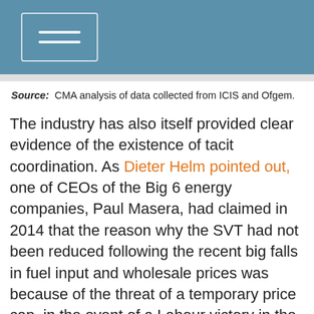Source: CMA analysis of data collected from ICIS and Ofgem.
The industry has also itself provided clear evidence of the existence of tacit coordination. As Dieter Helm pointed out, one of CEOs of the Big 6 energy companies, Paul Masera, had claimed in 2014 that the reason why the SVT had not been reduced following the recent big falls in fuel input and wholesale prices was because of the threat of a temporary price cap, in the event of a Labour victory in the 2015 General Election. Such conduct would not have been possible in a competitive market. Imagine an oil company not lowering petrol prices because it might have to lower them in the future. Competitors would reflect the falls in